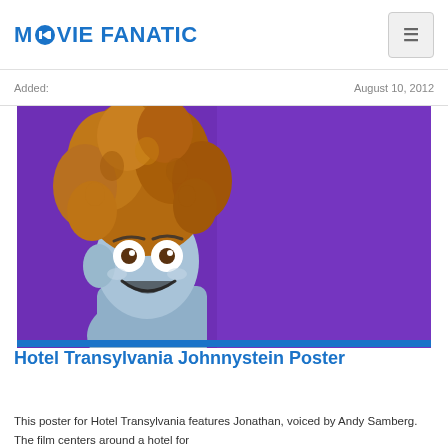MOVIE FANATIC
Added:                         August 10, 2012
[Figure (photo): Hotel Transylvania Johnnystein character poster - animated character with large curly orange/brown hair and blue-grey skin against a purple background]
Hotel Transylvania Johnnystein Poster
This poster for Hotel Transylvania features Jonathan, voiced by Andy Samberg. The film centers around a hotel for